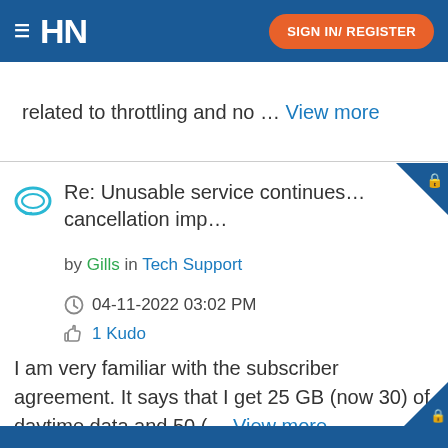HN | SIGN IN/ REGISTER
related to throttling and no … View more
Re: Unusable service continues… cancellation imp…
by Gills in Tech Support
04-11-2022 03:02 PM
1 Kudo
I am very familiar with the subscriber agreement. It says that I get 25 GB (now 30) of daytime data and 50 (… View more